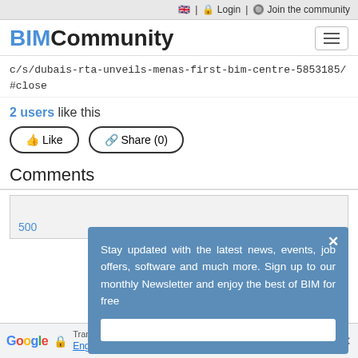🇬🇧 | 🔒 Login | 🔘 Join the community
BIM Community
c/s/dubais-rta-unveils-menas-first-bim-centre-5853185/#close
2 users like this
👍 Like    🔗 Share (0)
Comments
500
[Figure (screenshot): Newsletter popup overlay with blue background: 'Stay updated with the latest news, events, job offers, software and much more. Sign up to our monthly Newsletter and enjoy the best of BIM for free']
Google  🔒  Translated to: English ▼  |  Show original  |  Options ▼  |  ✕